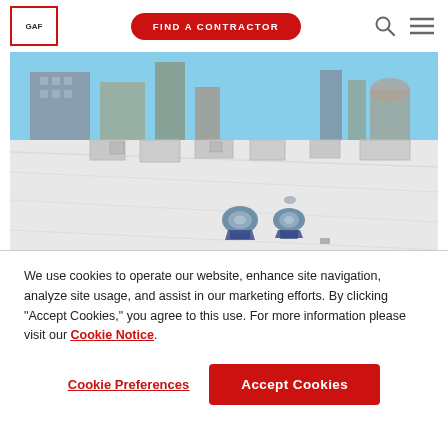GAF | FIND A CONTRACTOR
[Figure (photo): Aerial view of a white commercial flat roof with rooftop vents and HVAC equipment, city skyline with buildings visible in the background, blue sky. Master Select badge visible in bottom right corner.]
We use cookies to operate our website, enhance site navigation, analyze site usage, and assist in our marketing efforts. By clicking "Accept Cookies," you agree to this use. For more information please visit our Cookie Notice.
Cookie Preferences
Accept Cookies